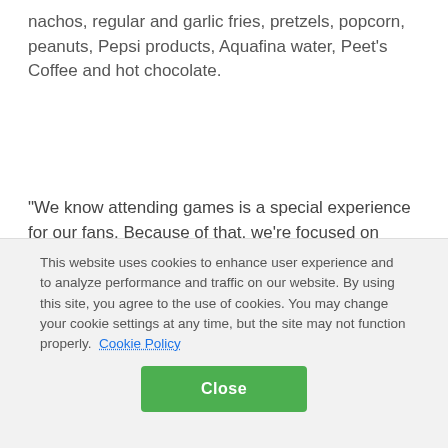nachos, regular and garlic fries, pretzels, popcorn, peanuts, Pepsi products, Aquafina water, Peet's Coffee and hot chocolate.
“We know attending games is a special experience for our fans. Because of that, we’re focused on continuously improving every aspect of gameday for them,” said Alex Chang, 49ers chief marketing officer. “Through these efforts we hope to create lasting memories for the Faithful and further strengthen their bond with the 49ers.”
This website uses cookies to enhance user experience and to analyze performance and traffic on our website. By using this site, you agree to the use of cookies. You may change your cookie settings at any time, but the site may not function properly. Cookie Policy